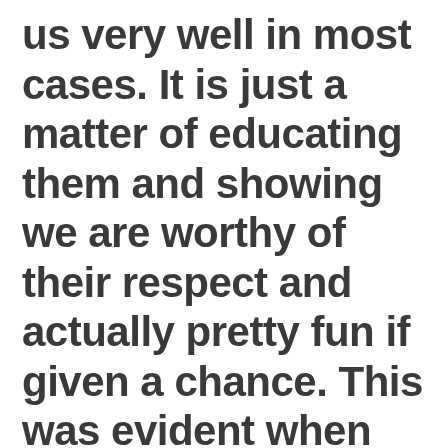us very well in most cases. It is just a matter of educating them and showing we are worthy of their respect and actually pretty fun if given a chance. This was evident when our gurls invaded the dance floor and the women already dancing